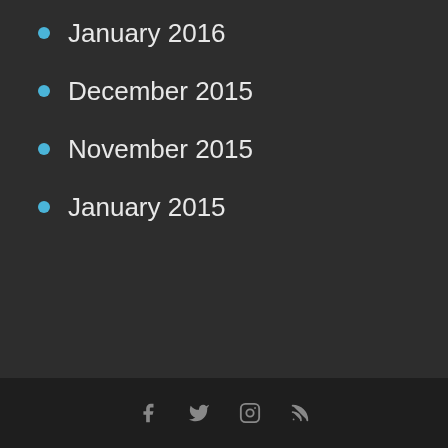January 2016
December 2015
November 2015
January 2015
Social media icons: Facebook, Twitter, Instagram, RSS